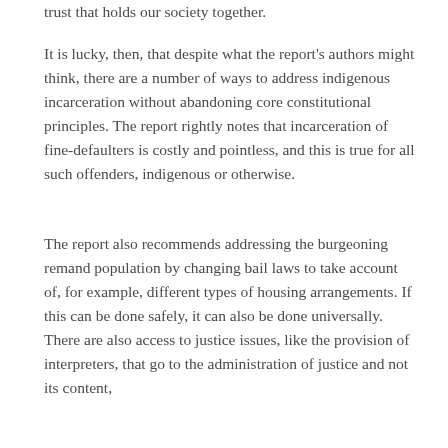trust that holds our society together.
It is lucky, then, that despite what the report's authors might think, there are a number of ways to address indigenous incarceration without abandoning core constitutional principles. The report rightly notes that incarceration of fine-defaulters is costly and pointless, and this is true for all such offenders, indigenous or otherwise.
The report also recommends addressing the burgeoning remand population by changing bail laws to take account of, for example, different types of housing arrangements. If this can be done safely, it can also be done universally. There are also access to justice issues, like the provision of interpreters, that go to the administration of justice and not its content,